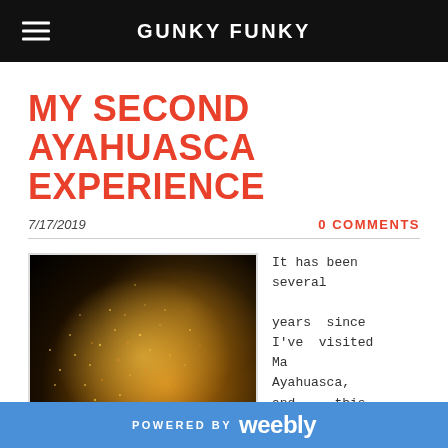GUNKY FUNKY
MY SECOND AYAHUASCA EXPERIENCE
7/17/2019
0 COMMENTS
[Figure (photo): Dark photo showing a person or figure surrounded by golden sparkling particles/fire sparks against a very dark background]
It has been several years since I've visited Ma Ayahuasca, and this story was
POWERED BY weebly